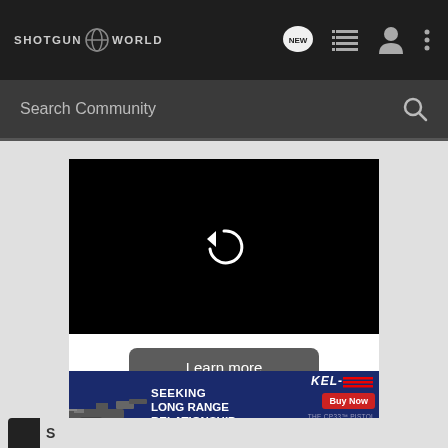SHOTGUN WORLD
Search Community
[Figure (screenshot): Black video player with a circular replay/loading icon in the center]
Learn more
[Figure (infographic): Kel-Tec CP33 pistol advertisement with text: SEEKING LONG RANGE RELATIONSHIP, KelTec logo, Buy Now button, THE CP33 PISTOL]